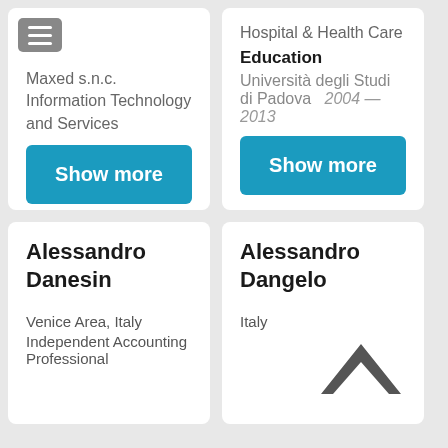Maxed s.n.c.
Information Technology and Services
Hospital & Health Care
Education
Università degli Studi di Padova   2004 — 2013
Show more
Show more
Alessandro Danesin
Venice Area, Italy
Independent Accounting Professional
Alessandro Dangelo
Italy